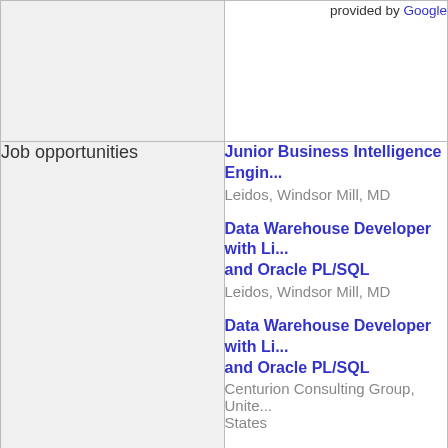provided by Google
|  | provided by Google |
| Job opportunities | Junior Business Intelligence Engin...
Leidos, Windsor Mill, MD

Data Warehouse Developer with Li... and Oracle PL/SQL
Leidos, Windsor Mill, MD

Data Warehouse Developer with Li... and Oracle PL/SQL
Centurion Consulting Group, United States

PostgresSQL-SQL Developer
Esolvit Inc.,, San Antonio, TX

Database Engineer
Purdue University, West Lafayette,... |